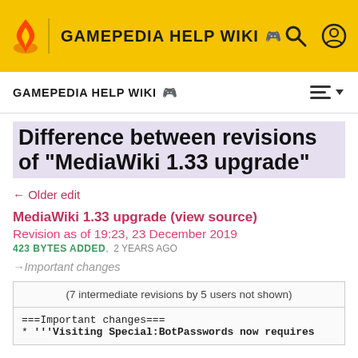GAMEPEDIA HELP WIKI
GAMEPEDIA HELP WIKI
Difference between revisions of "MediaWiki 1.33 upgrade"
← Older edit
MediaWiki 1.33 upgrade (view source)
Revision as of 19:23, 23 December 2019
423 BYTES ADDED,  2 YEARS AGO
→Important changes
(7 intermediate revisions by 5 users not shown)
===Important changes===
* '''Visiting Special:BotPasswords now requires